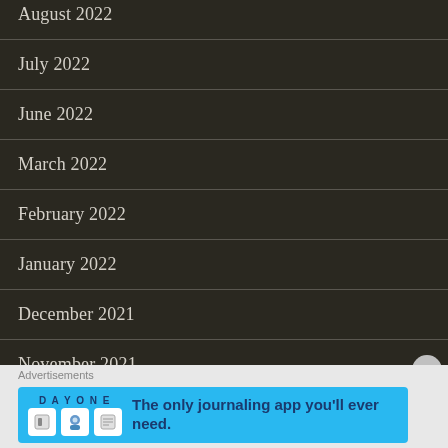August 2022
July 2022
June 2022
March 2022
February 2022
January 2022
December 2021
November 2021
October 2021
September 2021
Advertisements
[Figure (infographic): Day One journaling app advertisement banner with blue background, app icons, and text 'The only journaling app you'll ever need.']